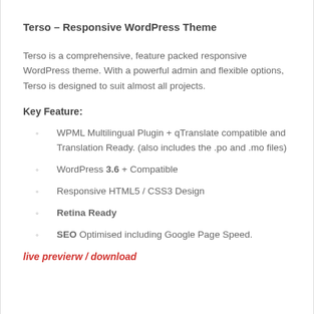Terso – Responsive WordPress Theme
Terso is a comprehensive, feature packed responsive WordPress theme. With a powerful admin and flexible options, Terso is designed to suit almost all projects.
Key Feature:
WPML Multilingual Plugin + qTranslate compatible and Translation Ready. (also includes the .po and .mo files)
WordPress 3.6 + Compatible
Responsive HTML5 / CSS3 Design
Retina Ready
SEO Optimised including Google Page Speed.
live previerw / download